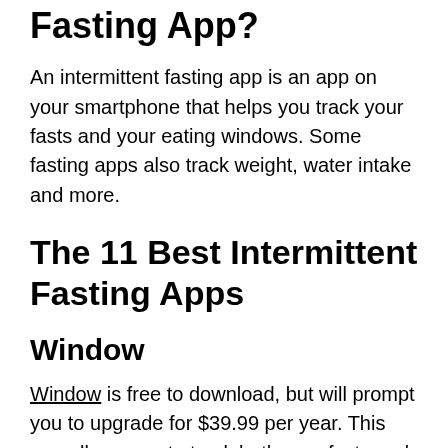Fasting App?
An intermittent fasting app is an app on your smartphone that helps you track your fasts and your eating windows. Some fasting apps also track weight, water intake and more.
The 11 Best Intermittent Fasting Apps
Window
Window is free to download, but will prompt you to upgrade for $39.99 per year. This app allows you to track both your fasts and your